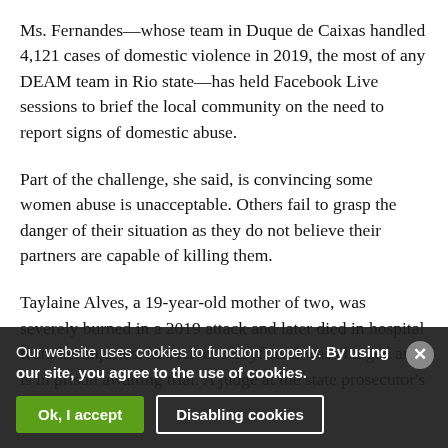Ms. Fernandes—whose team in Duque de Caixas handled 4,121 cases of domestic violence in 2019, the most of any DEAM team in Rio state—has held Facebook Live sessions to brief the local community on the need to report signs of domestic abuse.
Part of the challenge, she said, is convincing some women abuse is unacceptable. Others fail to grasp the danger of their situation as they do not believe their partners are capable of killing them.
Taylaine Alves, a 19-year-old mother of two, was severely burned in a 2019 attack and later died in hospital from her injuries. Ms. Alves's boyfriend was charged and is in prison awaiting trial. A judge at the state prosecutor's office declined...
Our website uses cookies to function properly. By using our site, you agree to the use of cookies.